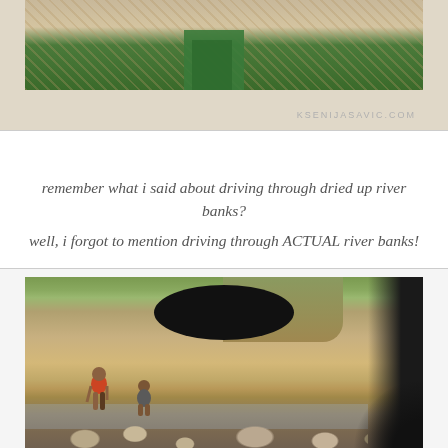[Figure (photo): Partial view of top photo showing textured material (possibly straw/grass) with green fabric visible, watermark KSENIJASAVIC.COM in lower right]
remember what i said about driving through dried up river banks? well, i forgot to mention driving through ACTUAL river banks!
[Figure (photo): Photo taken from inside a vehicle through the windshield showing a river bank scene. Rearview mirror silhouette visible at top. Two children playing in a rocky river bed. Green vegetation and eroded earth banks in background. Dark silhouette on right edge of frame.]